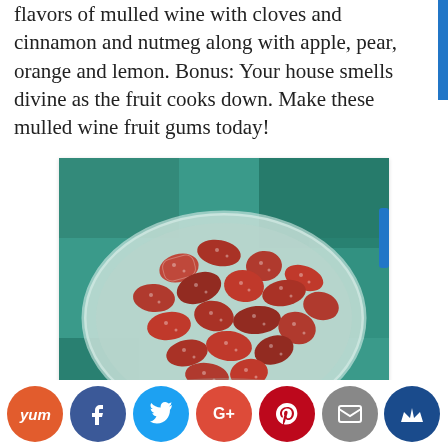flavors of mulled wine with cloves and cinnamon and nutmeg along with apple, pear, orange and lemon. Bonus: Your house smells divine as the fruit cooks down. Make these mulled wine fruit gums today!
[Figure (photo): A glass plate piled high with sugared mulled wine fruit gums (red/brown candies coated with sugar granules) on a teal/green background.]